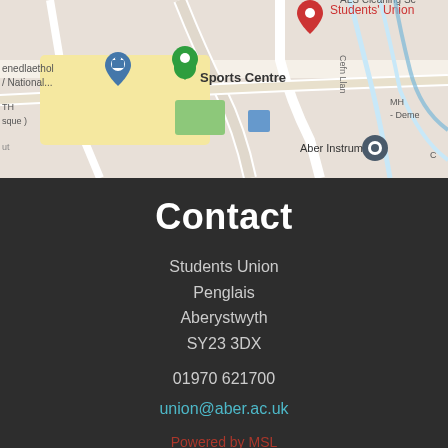[Figure (map): Google Maps screenshot showing Aberystwyth University campus area with pins for Students' Union, Sports Centre, and Aber Instruments. Shows roads, buildings, and nearby landmarks including Cefn Llan and Cae'r Wylan.]
Contact
Students Union
Penglais
Aberystwyth
SY23 3DX
01970 621700
union@aber.ac.uk
Powered by MSL